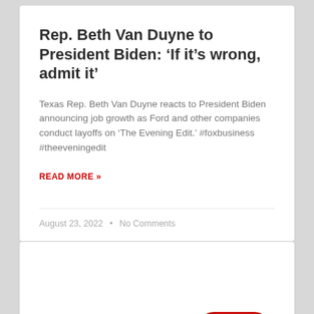Rep. Beth Van Duyne to President Biden: ‘If it’s wrong, admit it’
Texas Rep. Beth Van Duyne reacts to President Biden announcing job growth as Ford and other companies conduct layoffs on ‘The Evening Edit.’ #foxbusiness #theeveningedit
READ MORE »
August 23, 2022 • No Comments
BUSINESS NEWS